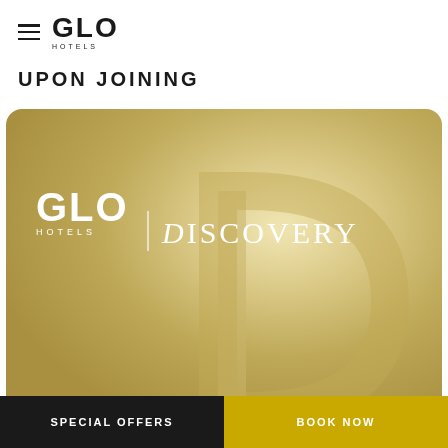GLO HOTELS
UPON JOINING
[Figure (illustration): A gold/champagne colored loyalty membership card showing GLO HOTELS and DISCOVERY logos, with a large decorative letter D in the background on a gold gradient background.]
SPECIAL OFFERS
BOOK NOW